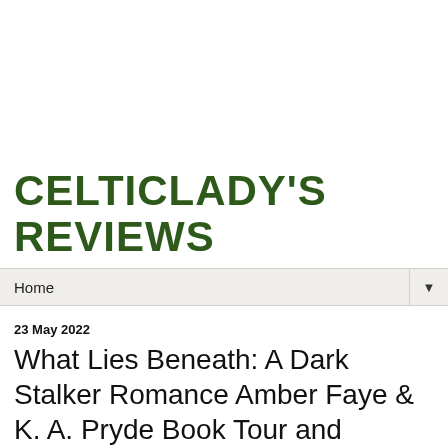CELTICLADY'S REVIEWS
Home
23 May 2022
What Lies Beneath: A Dark Stalker Romance Amber Faye & K. A. Pryde Book Tour and Giveaway!